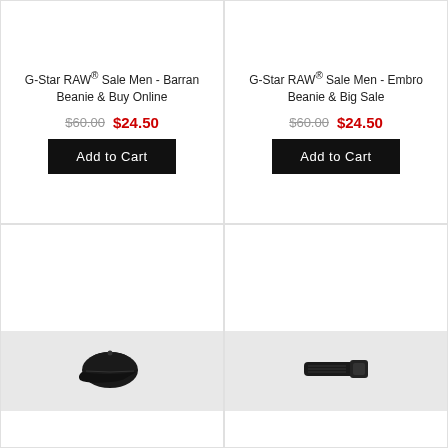G-Star RAW® Sale Men - Barran Beanie & Buy Online
$60.00  $24.50
Add to Cart
G-Star RAW® Sale Men - Embro Beanie & Big Sale
$60.00  $24.50
Add to Cart
[Figure (photo): Black baseball cap product photo on grey background]
[Figure (photo): Dark accessory (folded item) product photo on grey background]